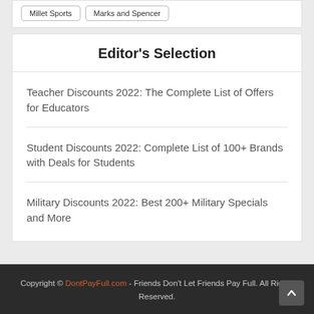Millet Sports
Marks and Spencer
Editor's Selection
Teacher Discounts 2022: The Complete List of Offers for Educators
Student Discounts 2022: Complete List of 100+ Brands with Deals for Students
Military Discounts 2022: Best 200+ Military Specials and More
Copyright © DontPayFull.com - Friends Don't Let Friends Pay Full. All Rights Reserved.